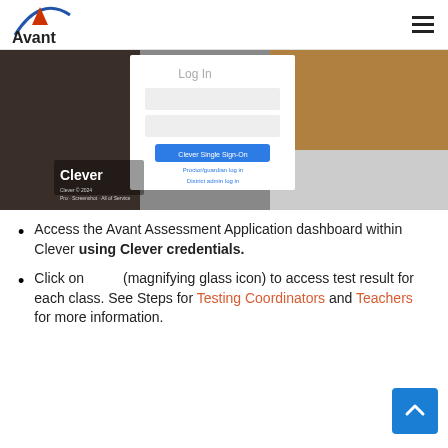Avant (logo) | hamburger menu
[Figure (screenshot): Screenshot of Avant Assessment website showing a Log In modal with Clever login button, 'Proctor/guardian log in' and 'District admin log in' links over a background photo of a student in a yellow hoodie at a laptop. The Clever logo and branding appear in the bottom-left of the image.]
Access the Avant Assessment Application dashboard within Clever using Clever credentials.
Click on (magnifying glass icon) to access test result for each class. See Steps for Testing Coordinators and Teachers for more information.